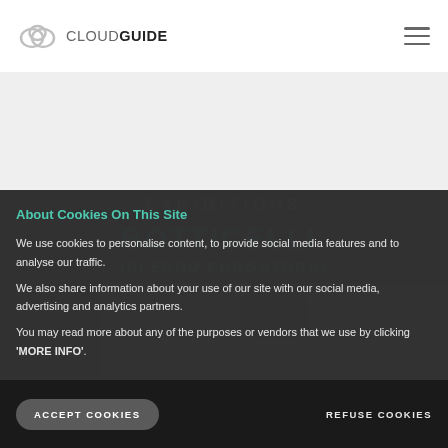CLOUDGUIDE
[Figure (screenshot): CloudGuide logo with cloud icon and text 'CLOUDGUIDE']
About Cookies On This Site
We use cookies to personalise content, to provide social media features and to analyse our traffic.
We also share information about your use of our site with our social media, advertising and analytics partners.
You may read more about any of the purposes or vendors that we use by clicking 'MORE INFO'.
REFUSE COOKIES
ACCEPT COOKIES